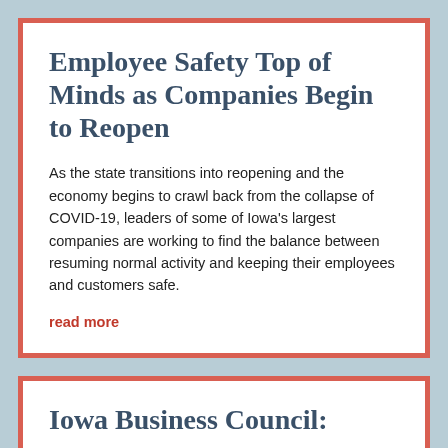Employee Safety Top of Minds as Companies Begin to Reopen
As the state transitions into reopening and the economy begins to crawl back from the collapse of COVID-19, leaders of some of Iowa’s largest companies are working to find the balance between resuming normal activity and keeping their employees and customers safe.
read more
Iowa Business Council: